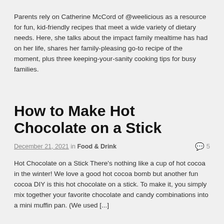Parents rely on Catherine McCord of @weelicious as a resource for fun, kid-friendly recipes that meet a wide variety of dietary needs. Here, she talks about the impact family mealtime has had on her life, shares her family-pleasing go-to recipe of the moment, plus three keeping-your-sanity cooking tips for busy families.
How to Make Hot Chocolate on a Stick
December 21, 2021 in Food & Drink  5
Hot Chocolate on a Stick There's nothing like a cup of hot cocoa in the winter! We love a good hot cocoa bomb but another fun cocoa DIY is this hot chocolate on a stick. To make it, you simply mix together your favorite chocolate and candy combinations into a mini muffin pan. (We used [...]